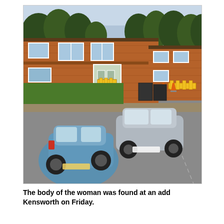[Figure (photo): Street-level view (Google Street View style) of a two-storey brick residential building with white-framed windows, surrounded by trees. Two cars are parked in the foreground — a blue hatchback on the left and a silver hatchback on the right. Yellow construction barriers and orange traffic cones are visible near the building entrance and on the right side of the road.]
The body of the woman was found at an address in Kensworth on Friday.